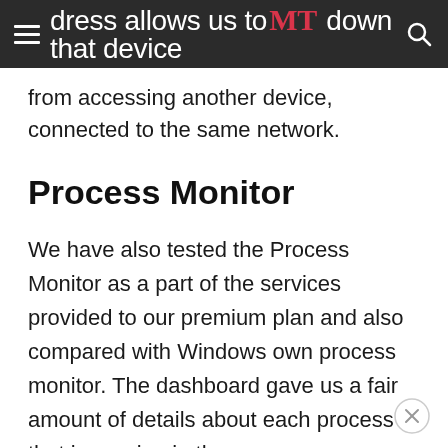dress allows us to MT down that device from accessing another device, connected to the same network.
from accessing another device, connected to the same network.
Process Monitor
We have also tested the Process Monitor as a part of the services provided to our premium plan and also compared with Windows own process monitor. The dashboard gave us a fair amount of details about each process that is running in the background. That includes Number of Processes executed, Accessing the Internet,